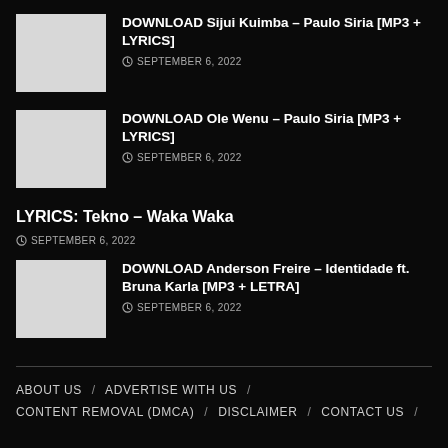DOWNLOAD Sijui Kuimba – Paulo Siria [MP3 + LYRICS]
SEPTEMBER 6, 2022
DOWNLOAD Ole Wenu – Paulo Siria [MP3 + LYRICS]
SEPTEMBER 6, 2022
LYRICS: Tekno – Waka Waka
SEPTEMBER 6, 2022
DOWNLOAD Anderson Freire – Identidade ft. Bruna Karla [MP3 + LETRA]
SEPTEMBER 6, 2022
ABOUT US / ADVERTISE WITH US / CONTENT REMOVAL (DMCA) / DISCLAIMER / CONTACT US /